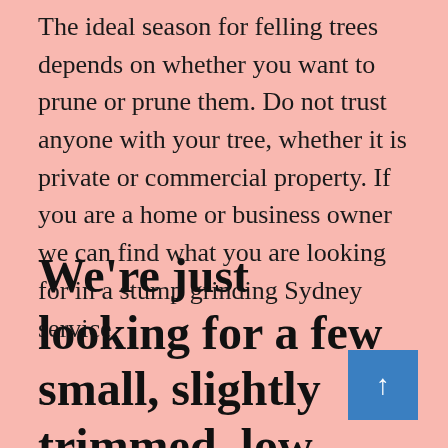The ideal season for felling trees depends on whether you want to prune or prune them. Do not trust anyone with your tree, whether it is private or commercial property. If you are a home or business owner we can find what you are looking for in a stump grinding Sydney service.
We're just looking for a few small, slightly trimmed, low-lying branches with light